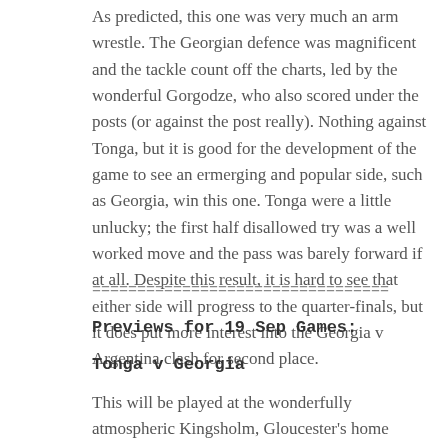As predicted, this one was very much an arm wrestle. The Georgian defence was magnificent and the tackle count off the charts, led by the wonderful Gorgodze, who also scored under the posts (or against the post really). Nothing against Tonga, but it is good for the development of the game to see an ermerging and popular side, such as Georgia, win this one. Tonga were a little unlucky; the first half disallowed try was a well worked move and the pass was barely forward if at all. Despite this result, it is hard to see that either side will progress to the quarter-finals, but it does put more interest into the Georgia v Argentina clash for second place.
=================================
Previews for 19 Sep Games:
Tonga v Georgia
This will be played at the wonderfully atmospheric Kingsholm, Gloucester's home ground. They breed them big in Tonga and they breed them big in Georgia, so this could be a mighty clash up front. Tonga will be favourites, but Georgia